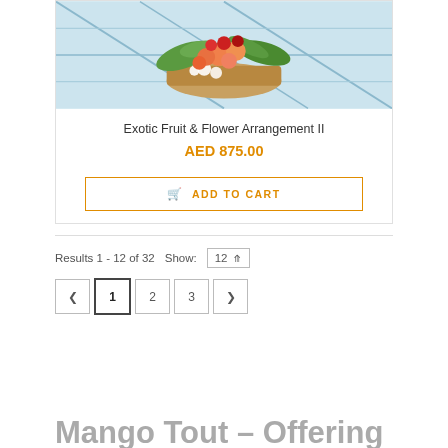[Figure (photo): Exotic fruit and flower arrangement in a basket, viewed from above on a tiled surface]
Exotic Fruit & Flower Arrangement II
AED 875.00
ADD TO CART
Results 1 - 12 of 32   Show: 12
< 1 2 3 >
Mango Tout – Offering